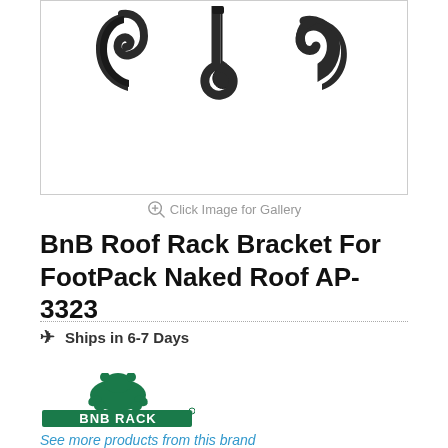[Figure (photo): Product photo showing three black metal roof rack bracket hooks/clips for a naked roof mounting system, displayed on white background]
Click Image for Gallery
BnB Roof Rack Bracket For FootPack Naked Roof AP-3323
Ships in 6-7 Days
[Figure (logo): BnB Rack brand logo featuring a green bear silhouette above green block text reading BNB RACK]
See more products from this brand